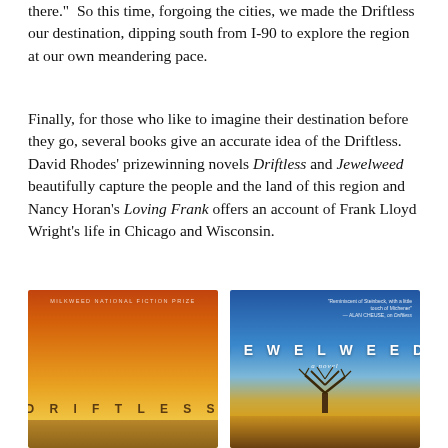there.”  So this time, forgoing the cities, we made the Driftless our destination, dipping south from I-90 to explore the region at our own meandering pace.
Finally, for those who like to imagine their destination before they go, several books give an accurate idea of the Driftless. David Rhodes’ prizewinning novels Driftless and Jewelweed beautifully capture the people and the land of this region and Nancy Horan’s Loving Frank offers an account of Frank Lloyd Wright’s life in Chicago and Wisconsin.
[Figure (photo): Book cover of Driftless by David Rhodes. Orange and gold gradient background with small landscape at bottom. Text reads: MILKWEED NATIONAL FICTION PRIZE at top, DRIFTLESS at bottom in spaced letters.]
[Figure (photo): Book cover of Jewelweed: a novel. Blue sky and golden field landscape with bare tree silhouette. Text reads: 'Reminiscent of Steinbeck, with a little touch of Michener — ALAN CHEUSE, on Driftless' at top right, JEWELWEED in large spaced letters, 'a novel' in italic below.]